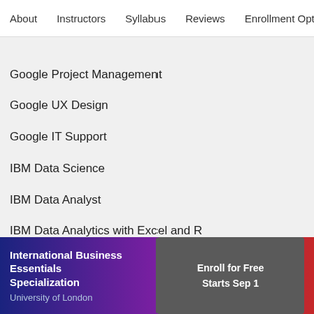About   Instructors   Syllabus   Reviews   Enrollment Opti
Google Project Management
Google UX Design
Google IT Support
IBM Data Science
IBM Data Analyst
IBM Data Analytics with Excel and R
IBM Cybersecurity Analyst
IBM Data Engineering
IBM Full Stack Cloud Developer
Facebook Social Media Marketing
International Business Essentials Specialization
University of London
Enroll for Free
Starts Sep 1